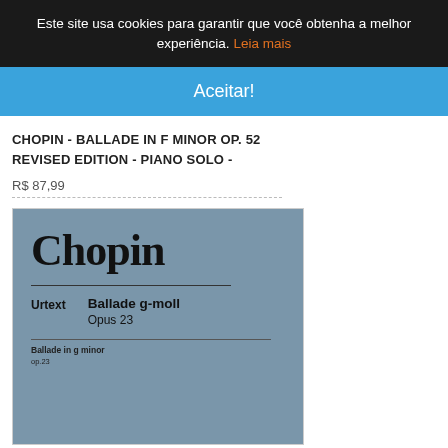Este site usa cookies para garantir que você obtenha a melhor experiência. Leia mais
Aceitar!
CHOPIN - BALLADE IN F MINOR OP. 52 REVISED EDITION - PIANO SOLO -
R$ 87,99
[Figure (photo): Book cover of Chopin Ballade g-moll Opus 23, Urtext edition. Blue-grey cover showing the name 'Chopin' in large serif font, a horizontal rule, and text 'Urtext  Ballade g-moll Opus 23' with subtitle 'Ballade in g minor op.23'.]